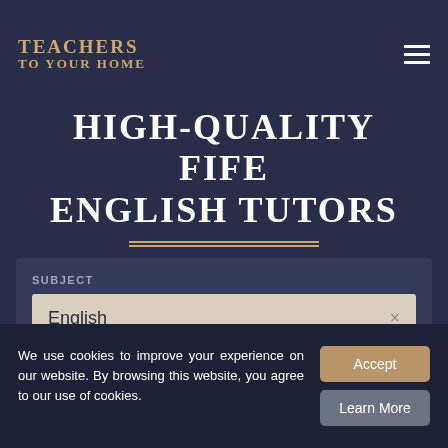TEACHERS TO YOUR HOME
HIGH-QUALITY FIFE ENGLISH TUTORS
SUBJECT
English ×
LOCATION
We use cookies to improve your experience on our website. By browsing this website, you agree to our use of cookies.
Accept
Learn More